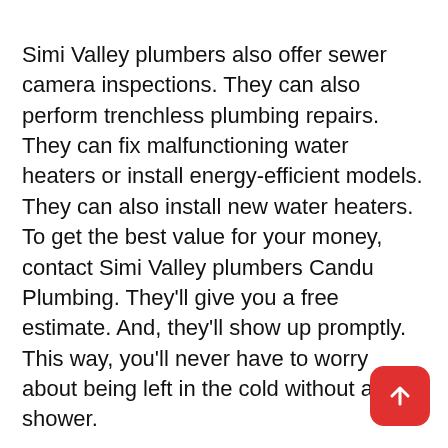Simi Valley plumbers also offer sewer camera inspections. They can also perform trenchless plumbing repairs. They can fix malfunctioning water heaters or install energy-efficient models. They can also install new water heaters. To get the best value for your money, contact Simi Valley plumbers Candu Plumbing. They'll give you a free estimate. And, they'll show up promptly. This way, you'll never have to worry about being left in the cold without a hot shower.
If you're looking for a plumber in Simi Valley, look no further than Candu Plumbing & Rooter. They've been serving the community for over twenty years and specialize in commercial plumbing and water heater installation. In addition to residential plumbing, they offer sewer repair and drain cleaning services. They